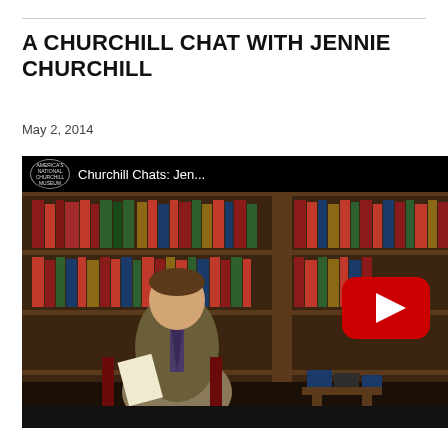A CHURCHILL CHAT WITH JENNIE CHURCHILL
May 2, 2014
[Figure (screenshot): YouTube embedded video thumbnail showing two people seated in chairs in front of a bookshelf — a man in a suit on the left and a woman in a purple jacket on the right. A red YouTube play button is centered over the image. The top bar shows the America's National Churchill Museum logo and the title 'Churchill Chats: Jen...']